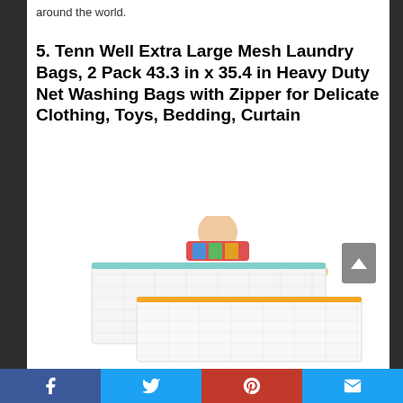around the world.
5. Tenn Well Extra Large Mesh Laundry Bags, 2 Pack 43.3 in x 35.4 in Heavy Duty Net Washing Bags with Zipper for Delicate Clothing, Toys, Bedding, Curtain
[Figure (photo): Woman holding up two large white mesh laundry bags with colored zipper trim (teal and orange), showing their large size]
Social share bar with Facebook, Twitter, Pinterest, and Email buttons